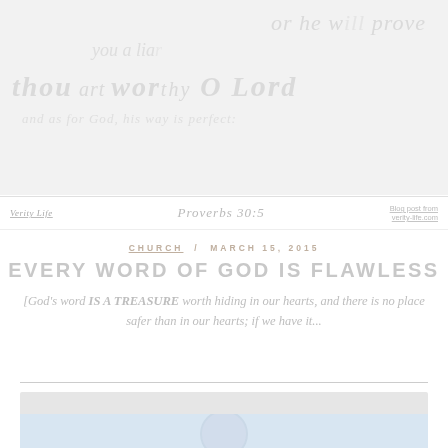[Figure (illustration): Faded/watermark-style image showing old scripture text in large stylized lettering, very light gray on white background. Shows partial text including words like 'prove', 'thou', 'O Lord'. Below the image: 'Verity Life | Proverbs 30:5 | [website]']
Verity Life  |  Proverbs 30:5  |  [website]
CHURCH  /  MARCH 15, 2015
EVERY WORD OF GOD IS FLAWLESS
[God's word IS A TREASURE worth hiding in our hearts, and there is no place safer than in our hearts; if we have it...
[Figure (photo): Bottom portion of page showing a card/article preview with a light gray header bar and a light blue image area below, with a faint circular portrait photo visible at the bottom edge.]